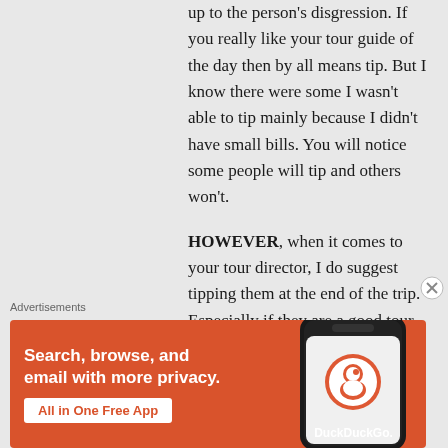up to the person's disgression. If you really like your tour guide of the day then by all means tip. But I know there were some I wasn't able to tip mainly because I didn't have small bills. You will notice some people will tip and others won't.

HOWEVER, when it comes to your tour director, I do suggest tipping them at the end of the trip. Especially if they are a good tour director. Again.
Advertisements
[Figure (infographic): DuckDuckGo advertisement banner with orange background. Left side shows text 'Search, browse, and email with more privacy.' with a white button 'All in One Free App'. Right side shows a smartphone with DuckDuckGo logo and 'DuckDuckGo.' text.]